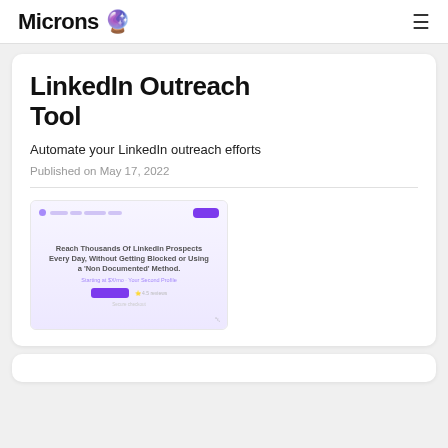Microns 🔮
LinkedIn Outreach Tool
Automate your LinkedIn outreach efforts
Published on May 17, 2022
[Figure (screenshot): Screenshot of a LinkedIn outreach tool landing page showing the headline 'Reach Thousands Of LinkedIn Prospects Every Day, Without Getting Blocked or Using a Non Documented Method' with a purple CTA button]